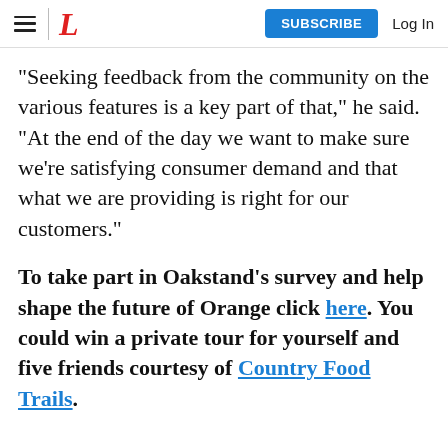L | SUBSCRIBE  Log In
"Seeking feedback from the community on the various features is a key part of that," he said. "At the end of the day we want to make sure we're satisfying consumer demand and that what we are providing is right for our customers."
To take part in Oakstand's survey and help shape the future of Orange click here. You could win a private tour for yourself and five friends courtesy of Country Food Trails.